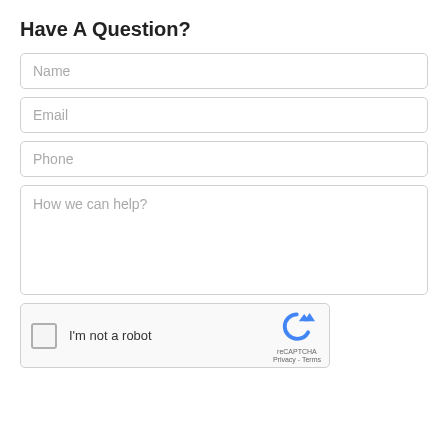Have A Question?
Name
Email
Phone
How we can help?
[Figure (other): reCAPTCHA widget with checkbox labeled I'm not a robot, reCAPTCHA logo, Privacy and Terms links]